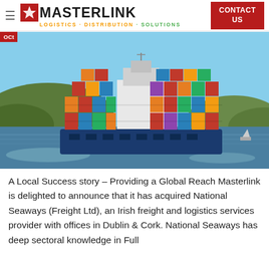MASTERLINK LOGISTICS · DISTRIBUTION · SOLUTIONS | CONTACT US
[Figure (photo): Large container ship loaded with colorful shipping containers sailing on open water with green hills in the background. The ship has a blue hull.]
A Local Success story – Providing a Global Reach Masterlink is delighted to announce that it has acquired National Seaways (Freight Ltd), an Irish freight and logistics services provider with offices in Dublin & Cork. National Seaways has deep sectoral knowledge in Full